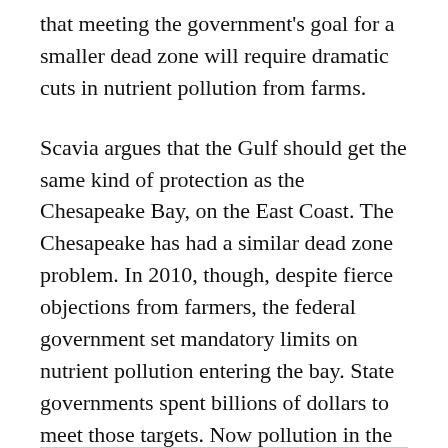that meeting the government's goal for a smaller dead zone will require dramatic cuts in nutrient pollution from farms.
Scavia argues that the Gulf should get the same kind of protection as the Chesapeake Bay, on the East Coast. The Chesapeake has had a similar dead zone problem. In 2010, though, despite fierce objections from farmers, the federal government set mandatory limits on nutrient pollution entering the bay. State governments spent billions of dollars to meet those targets. Now pollution in the bay is down, and some wildlife in the Chesapeake is starting to recover.